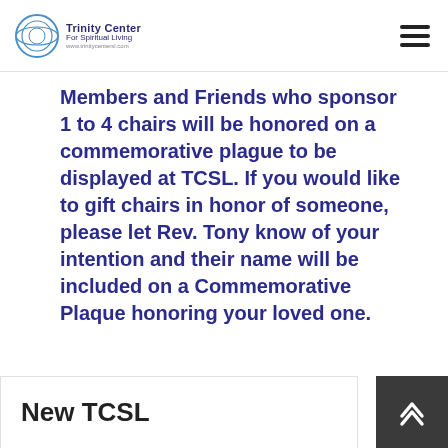Trinity Center For Spiritual Living
Members and Friends who sponsor 1 to 4 chairs will be honored on a commemorative plague to be displayed at TCSL. If you would like to gift chairs in honor of someone, please let Rev. Tony know of your intention and their name will be included on a Commemorative Plaque honoring your loved one.
New TCSL